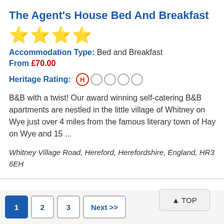The Agent's House Bed And Breakfast
[Figure (illustration): Four yellow star rating icons]
Accommodation Type: Bed and Breakfast
From £70.00
Heritage Rating: H (1 filled, 4 empty circles)
B&B with a twist! Our award winning self-catering B&B apartments are nestled in the little village of Whitney on Wye just over 4 miles from the famous literary town of Hay on Wye and 15 ...
Whitney Village Road, Hereford, Herefordshire, England, HR3 6EH
1  2  3  Next >>
▲ TOP